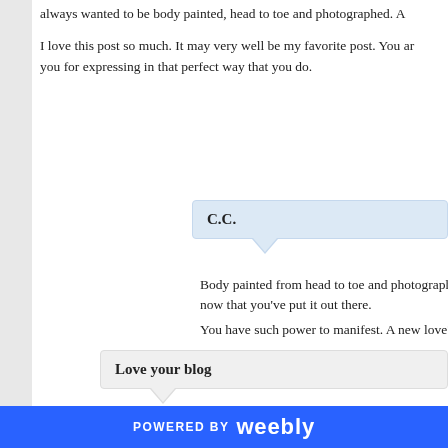always wanted to be body painted, head to toe and photographed. A
I love this post so much. It may very well be my favorite post. You ar you for expressing in that perfect way that you do.
C.C.
Body painted from head to toe and photographed. YES! The now that you've put it out there.
You have such power to manifest. A new love? How exciting
Love your blog
You are beautiful!!! Love the picture of you in the white water. Good
POWERED BY weebly